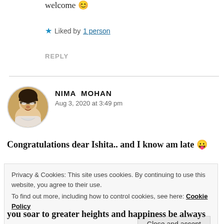welcome 😊
★ Liked by 1 person
REPLY
[Figure (photo): Circular avatar photo of a woman with glasses and dark hair, wearing white top]
NIMA MOHAN
Aug 3, 2020 at 3:49 pm
Congratulations dear Ishita.. and I know am late 😛
Privacy & Cookies: This site uses cookies. By continuing to use this website, you agree to their use.
To find out more, including how to control cookies, see here: Cookie Policy
Close and accept
you soar to greater heights and happiness be always